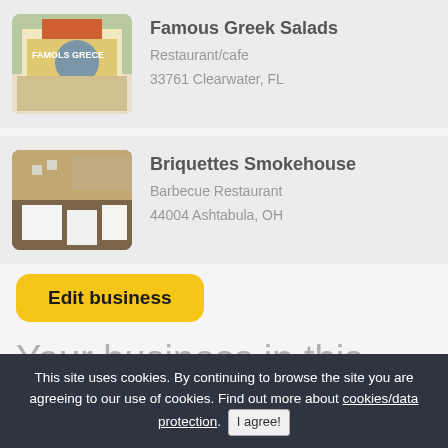[Figure (photo): Photo of Famous Greek Salads restaurant exterior with blue umbrella and storefront]
Famous Greek Salads
Restaurant/cafe
33761 Clearwater, FL
[Figure (photo): Photo of Briquettes Smokehouse interior dining room with white tablecloths]
Briquettes Smokehouse
Barbecue Restaurant
44004 Ashtabula, OH
Edit business
Your business in this directory?
This site uses cookies. By continuing to browse the site you are agreeing to our use of cookies. Find out more about cookies/data protection. I agree!